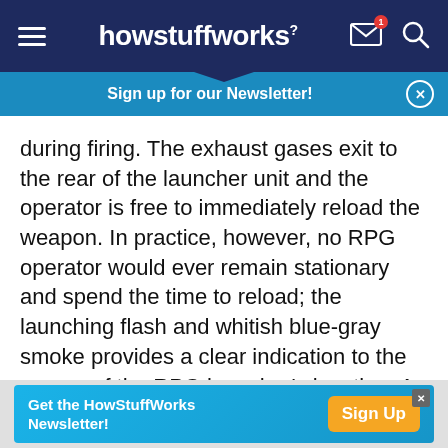howstuffworks
Sign up for our Newsletter!
during firing. The exhaust gases exit to the rear of the launcher unit and the operator is free to immediately reload the weapon. In practice, however, no RPG operator would ever remain stationary and spend the time to reload; the launching flash and whitish blue-gray smoke provides a clear indication to the enemy of the RPG launcher's location. An effective, surviving RPG operator is one who quickly changes position and gets under cover.
Get the HowStuffWorks Newsletter! Sign Up